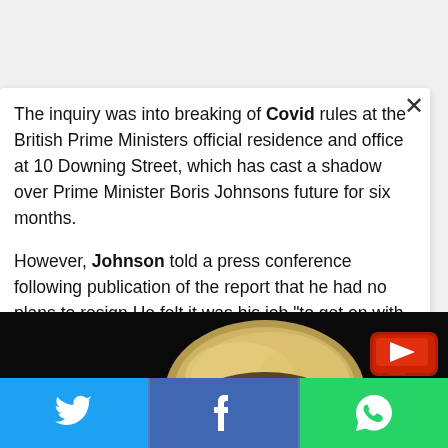The inquiry was into breaking of Covid rules at the British Prime Ministers official residence and office at 10 Downing Street, which has cast a shadow over Prime Minister Boris Johnsons future for six months.
However, Johnson told a press conference following publication of the report that he had no plans to resign.He felt it was his job "to get on with the job".
[Figure (photo): Photo of Boris Johnson with blond hair against a dark/black background, partially visible, cropped at bottom]
[Figure (logo): Small logo in bottom right of photo: TV-style icon with red arrow pointing right]
[Figure (infographic): Social sharing bar at bottom: Twitter (blue), Facebook (dark blue), WhatsApp (green) buttons with icons]